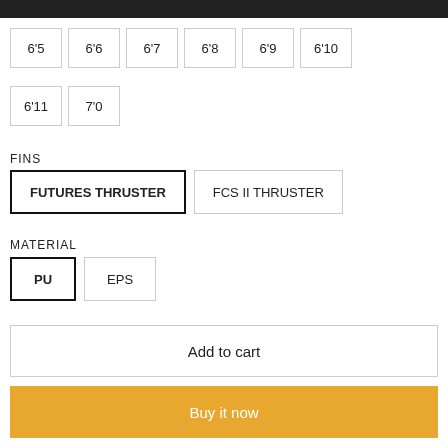6'5
6'6
6'7
6'8
6'9
6'10
6'11
7'0
FINS
FUTURES THRUSTER
FCS II THRUSTER
MATERIAL
PU
EPS
Add to cart
Buy it now